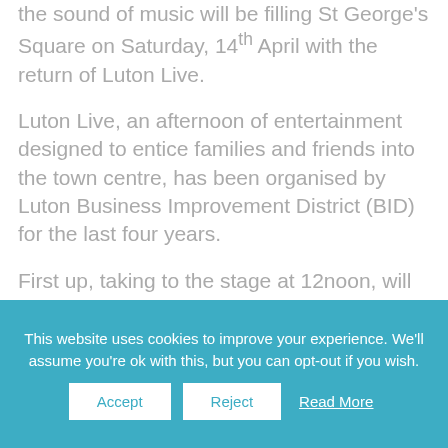the sound of music will be filling St George's Square on Saturday, 14th April with the return of Luton Live.
Luton Live, an afternoon of entertainment designed to entice families and friends into the town centre, has been organised by Luton Business Improvement District (BID) for the last four years.
First up, taking to the stage at 12noon, will be Luton's Liam Rowlands whose most recent single, Sis Sti...
This website uses cookies to improve your experience. We'll assume you're ok with this, but you can opt-out if you wish.